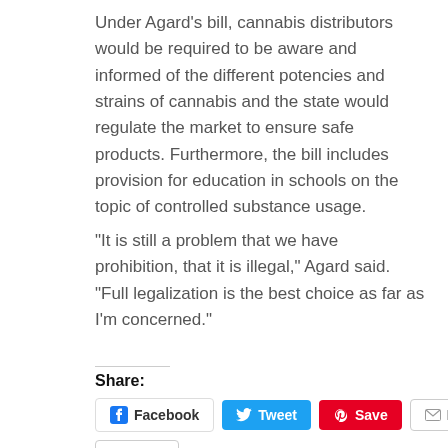Under Agard's bill, cannabis distributors would be required to be aware and informed of the different potencies and strains of cannabis and the state would regulate the market to ensure safe products. Furthermore, the bill includes provision for education in schools on the topic of controlled substance usage.
“It is still a problem that we have prohibition, that it is illegal,” Agard said. “Full legalization is the best choice as far as I’m concerned.”
Share:
[Figure (other): Social share buttons: Facebook, Tweet, Save (Pinterest), Email, Print]